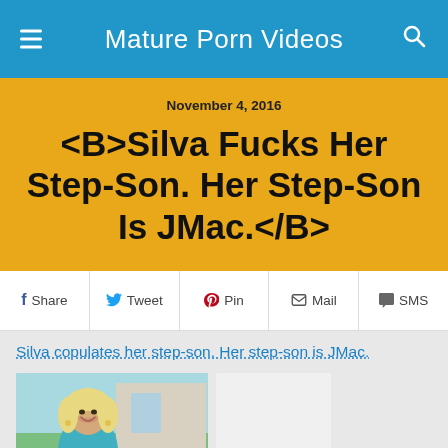Mature Porn Videos
November 4, 2016
<B>Silva Fucks Her Step-Son. Her Step-Son Is JMac.</B>
Share  Tweet  Pin  Mail  SMS
Silva copulates her step-son. Her step-son is JMac.
[Figure (photo): Thumbnail photo of a blonde woman laughing, wearing teal/blue outfit, outdoor/indoor background]